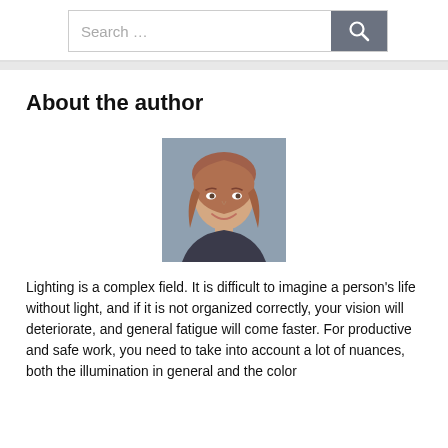Search ...
About the author
[Figure (photo): Headshot of a woman with long reddish-brown hair, smiling, against a blurred blue-grey background]
Lighting is a complex field. It is difficult to imagine a person's life without light, and if it is not organized correctly, your vision will deteriorate, and general fatigue will come faster. For productive and safe work, you need to take into account a lot of nuances, both the illumination in general and the color